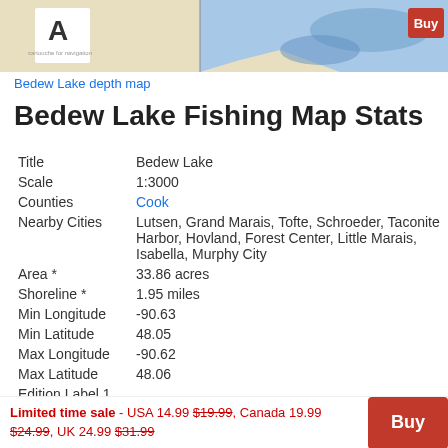[Figure (map): Partial preview of Bedew Lake depth map with a 'Buy' button overlay in the top-right corner. Shows a nautical-style lake map with blue water features and beige land, with a small logo in the top-left corner.]
Bedew Lake depth map
Bedew Lake Fishing Map Stats
| Title | Bedew Lake |
| Scale | 1:3000 |
| Counties | Cook |
| Nearby Cities | Lutsen, Grand Marais, Tofte, Schroeder, Taconite Harbor, Hovland, Forest Center, Little Marais, Isabella, Murphy City |
| Area * | 33.86 acres |
| Shoreline * | 1.95 miles |
| Min Longitude | -90.63 |
| Min Latitude | 48.05 |
| Max Longitude | -90.62 |
| Max Latitude | 48.06 |
| Edition Label 1 |  |
| Edition |  |
Limited time sale - USA 14.99 $19.99, Canada 19.99 $24.99, UK 24.99 $31.99